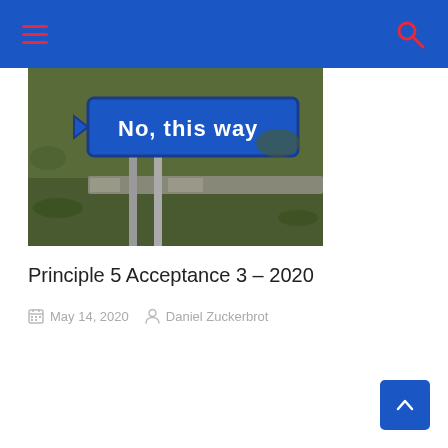Navigation bar with hamburger menu and search icon
[Figure (photo): A road sign reading 'No, this way' with an arrow, mounted on a post, set against a green outdoor background with foliage and a stone wall.]
Principle 5 Acceptance 3 – 2020
May 14, 2020   Daniel Zuckerbrot